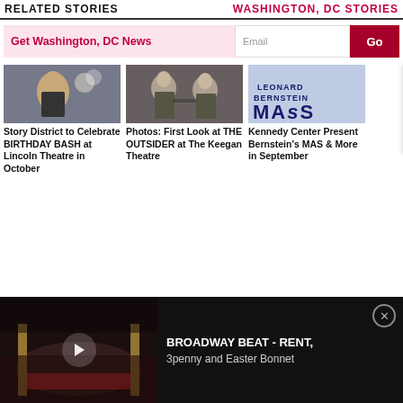RELATED STORIES   WASHINGTON, DC STORIES
Get Washington, DC News  Email  Go
[Figure (photo): Woman holding a balloon at a party or event]
Story District to Celebrate BIRTHDAY BASH at Lincoln Theatre in October
[Figure (photo): Two men in suits sitting at a table]
Photos: First Look at THE OUTSIDER at The Keegan Theatre
[Figure (photo): Kennedy Center MAsS poster]
Kennedy Center Present Bernstein's MAS & More in September
[Figure (screenshot): Video player showing theater interior with play button. Title: BROADWAY BEAT - RENT, 3penny and Easter Bonnet]